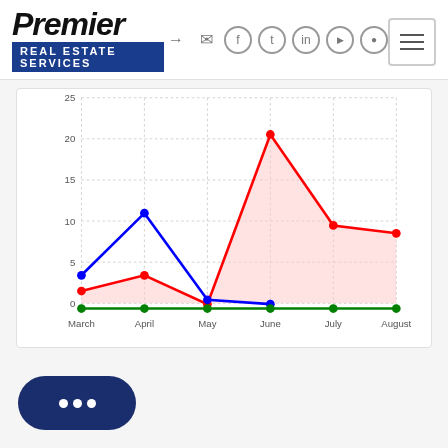[Figure (logo): Premier Real Estate Services logo with italicized bold Premier text and blue banner]
[Figure (line-chart): Monthly real estate data]
[Figure (illustration): Chat button with speech bubble and three dots]